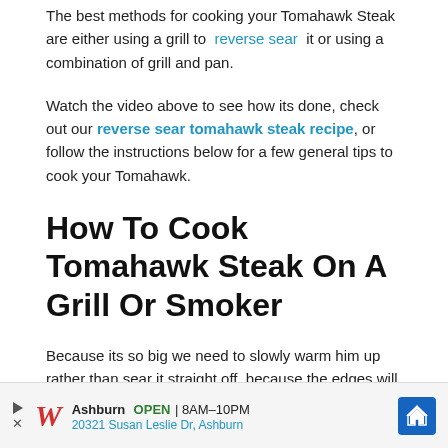The best methods for cooking your Tomahawk Steak are either using a grill to reverse sear it or using a combination of grill and pan.
Watch the video above to see how its done, check out our reverse sear tomahawk steak recipe, or follow the instructions below for a few general tips to cook your Tomahawk.
How To Cook Tomahawk Steak On A Grill Or Smoker
Because its so big we need to slowly warm him up rather than sear it straight off, because the edges will char, and the inside will be raw. So here I will suggest using
[Figure (other): Advertisement banner for Walgreens: Ashburn OPEN 8AM-10PM, 20321 Susan Leslie Dr, Ashburn]